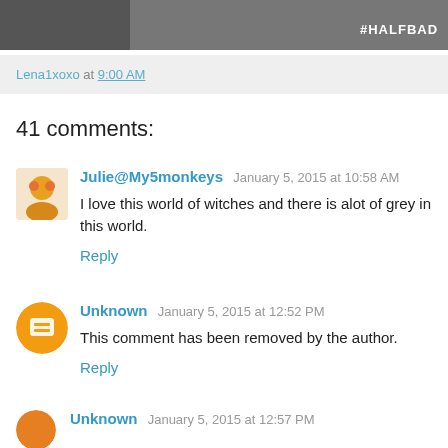[Figure (photo): Book cover image with #HALFBAD text]
Lena1xoxo at 9:00 AM
41 comments:
Julie@My5monkeys January 5, 2015 at 10:58 AM
I love this world of witches and there is alot of grey in this world.
Reply
Unknown January 5, 2015 at 12:52 PM
This comment has been removed by the author.
Reply
Unknown January 5, 2015 at 12:57 PM